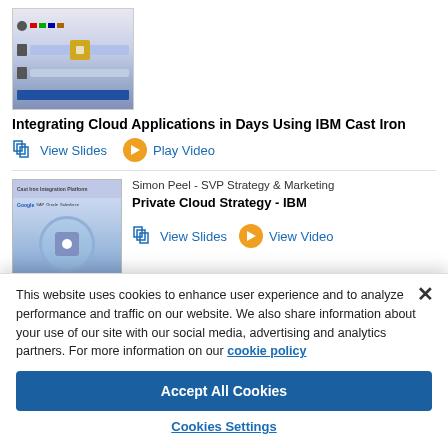[Figure (screenshot): Thumbnail screenshot of a presentation slide about IBM Cast Iron cloud integration]
Integrating Cloud Applications in Days Using IBM Cast Iron
View Slides  Play Video
[Figure (screenshot): Thumbnail screenshot of a presentation slide about IBM Cast Iron Integration Platform with logos]
Simon Peel - SVP Strategy & Marketing
Private Cloud Strategy - IBM
View Slides  View Video
This website uses cookies to enhance user experience and to analyze performance and traffic on our website. We also share information about your use of our site with our social media, advertising and analytics partners. For more information on our cookie policy
Accept All Cookies
Cookies Settings